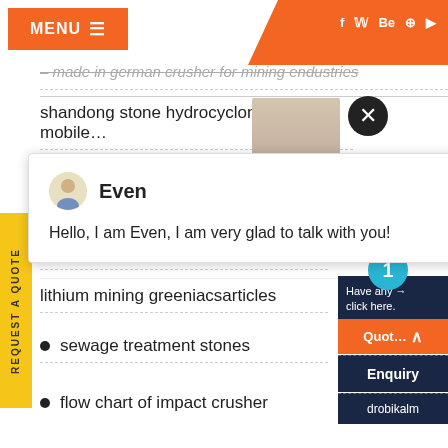MENU
made in german crusher for mining endustries
shandong stone hydrocyclone machine mobile…
[Figure (screenshot): Chat popup with avatar of 'Even' saying: Hello, I am Even, I am very glad to talk with you!]
nargu coal crusher miner bara
lithium mining greeniacsarticles
sewage treatment stones
flow chart of impact crusher
[Figure (screenshot): Right sidebar with Have any... click here., Quote button, Enquiry button, drobikalm text, notification badge showing 1, and REQUEST A QUOTE yellow vertical tab on left]